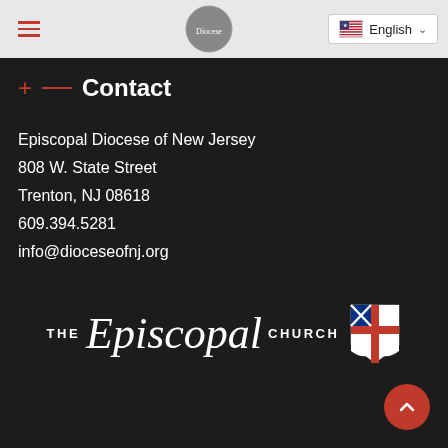Navigation bar with hamburger menu, diocese logo, and English language selector
Contact
Episcopal Diocese of New Jersey
808 W. State Street
Trenton, NJ 08618
609.394.5281
info@dioceseofnj.org
[Figure (logo): THE Episcopal CHURCH logo with cross shield emblem]